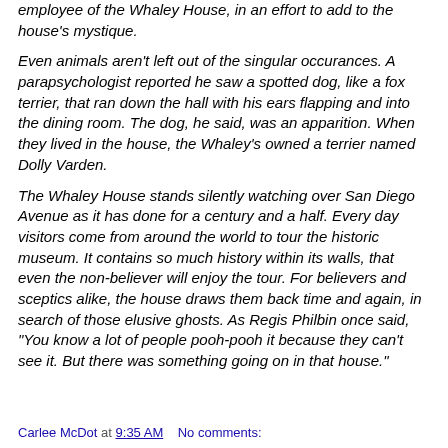employee of the Whaley House, in an effort to add to the house's mystique.
Even animals aren't left out of the singular occurances. A parapsychologist reported he saw a spotted dog, like a fox terrier, that ran down the hall with his ears flapping and into the dining room. The dog, he said, was an apparition. When they lived in the house, the Whaley's owned a terrier named Dolly Varden.
The Whaley House stands silently watching over San Diego Avenue as it has done for a century and a half. Every day visitors come from around the world to tour the historic museum. It contains so much history within its walls, that even the non-believer will enjoy the tour. For believers and sceptics alike, the house draws them back time and again, in search of those elusive ghosts. As Regis Philbin once said, "You know a lot of people pooh-pooh it because they can't see it. But there was something going on in that house."
Carlee McDot at 9:35 AM   No comments: